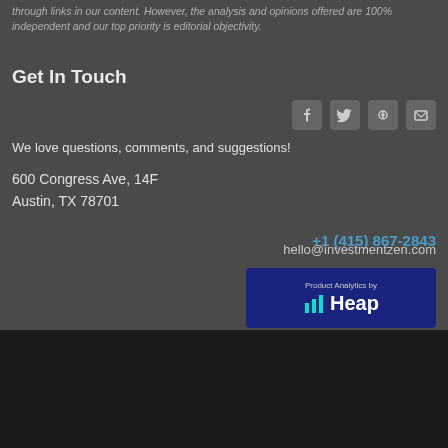through links in our content. However, the analysis and opinions offered are 100% independent and our top priority is editorial objectivity.
Get In Touch
[Figure (infographic): Social media icons: Facebook, Twitter, Pinterest, RSS]
We love questions, comments, and suggestions!
600 Congress Ave, 14F
Austin, TX 78701
+1 (415) 867-2843
hello@investmentzen.com
[Figure (logo): Product Analytics by Heap logo badge]
Copyright © 2022 InvestmentZen
Home   News   ZenAnswers   Data Visualizations   Personal Finance Top List   Gallery   Contributors   Terms of Service   Privacy Policy   About   Contact